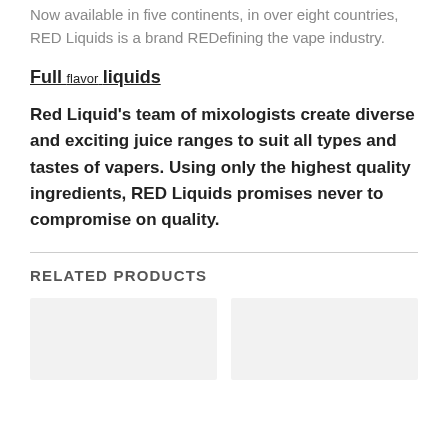Now available in five continents, in over eight countries, RED Liquids is a brand REDefining the vape industry.
Full flavor liquids
Red Liquid's team of mixologists create diverse and exciting juice ranges to suit all types and tastes of vapers. Using only the highest quality ingredients, RED Liquids promises never to compromise on quality.
RELATED PRODUCTS
[Figure (other): Two product placeholder image boxes side by side]